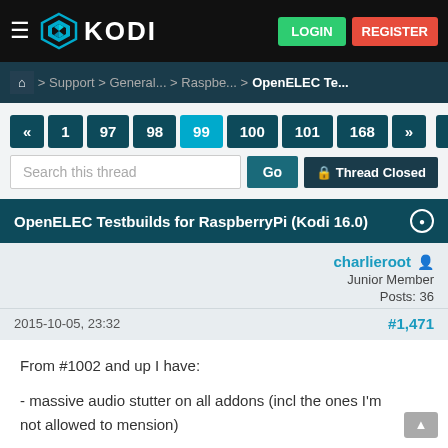KODI — LOGIN REGISTER
Home > Support > General... > Raspbe... > OpenELEC Te...
« 1 97 98 99 100 101 168 » ↓
Search this thread  Go  🔒 Thread Closed
OpenELEC Testbuilds for RaspberryPi (Kodi 16.0)
charlieroot
Junior Member
Posts: 36
2015-10-05, 23:32  #1,471
From #1002 and up I have:

- massive audio stutter on all addons (incl the ones I'm not allowed to mension)